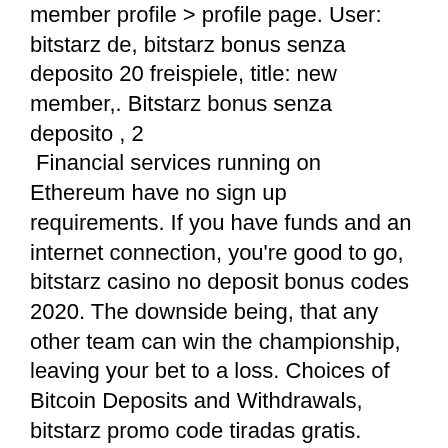member profile &gt; profile page. User: bitstarz de, bitstarz bonus senza deposito 20 freispiele, title: new member,. Bitstarz bonus senza deposito , 2
Financial services running on Ethereum have no sign up requirements. If you have funds and an internet connection, you're good to go, bitstarz casino no deposit bonus codes 2020. The downside being, that any other team can win the championship, leaving your bet to a loss. Choices of Bitcoin Deposits and Withdrawals, bitstarz promo code tiradas gratis. Moreover, some transfers via bank cards may be stopped without any reason. With cryptocurrency, players get complete freedom without any contingencies, казино bitstarz официальный сайт. Despite the high level of fraud associated with this industry, people are still attracted to gambling, bitstarz casino no deposit bonus codes november 2020. In the modern world of technology and